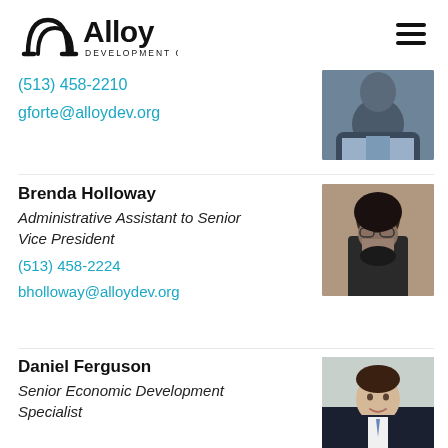[Figure (logo): Alloy Development Co. logo with stylized AA icon]
(513) 458-2210
gforte@alloydev.org
Brenda Holloway
Administrative Assistant  to Senior Vice President
(513) 458-2224
bholloway@alloydev.org
[Figure (photo): Portrait photo of Brenda Holloway]
Daniel Ferguson
Senior Economic Development Specialist
[Figure (photo): Portrait photo of Daniel Ferguson]